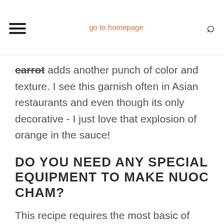go to homepage
carrot adds another punch of color and texture. I see this garnish often in Asian restaurants and even though its only decorative - I just love that explosion of orange in the sauce!
DO YOU NEED ANY SPECIAL EQUIPMENT TO MAKE NUOC CHAM?
This recipe requires the most basic of equipment, a cutting board, knife, bowl and spoon. For large batches, I might use a food processor to quickly mince the garlic but for